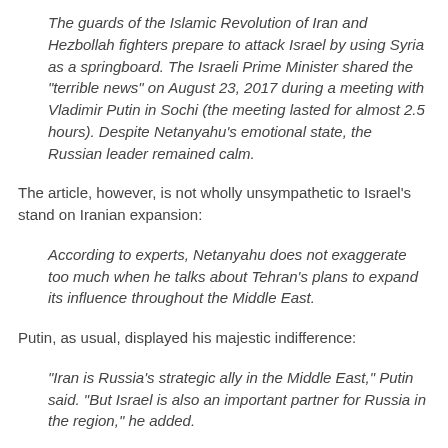The guards of the Islamic Revolution of Iran and Hezbollah fighters prepare to attack Israel by using Syria as a springboard. The Israeli Prime Minister shared the "terrible news" on August 23, 2017 during a meeting with Vladimir Putin in Sochi (the meeting lasted for almost 2.5 hours). Despite Netanyahu's emotional state, the Russian leader remained calm.
The article, however, is not wholly unsympathetic to Israel's stand on Iranian expansion:
According to experts, Netanyahu does not exaggerate too much when he talks about Tehran's plans to expand its influence throughout the Middle East.
Putin, as usual, displayed his majestic indifference:
"Iran is Russia's strategic ally in the Middle East," Putin said. "But Israel is also an important partner for Russia in the region," he added.